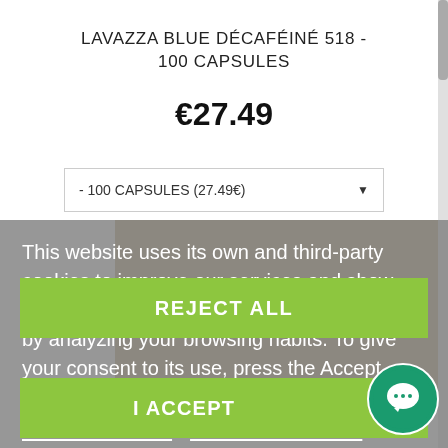LAVAZZA BLUE DÉCAFÉINÉ 518 - 100 CAPSULES
€27.49
- 100 CAPSULES (27.49€)
This website uses its own and third-party cookies to improve our services and show you advertising related to your preferences by analyzing your browsing habits. To give your consent to its use, press the Accept button.
More information   Customize Cookies
REJECT ALL
I ACCEPT